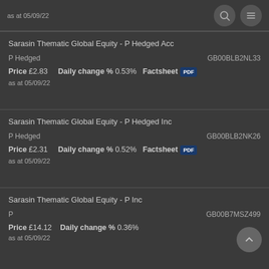as at 05/09/22
Sarasin Thematic Global Equity - P Hedged Acc
P Hedged    GB00BLB2NL33
Price £2.83   Daily change % 0.53%   Factsheet
as at 05/09/22
Sarasin Thematic Global Equity - P Hedged Inc
P Hedged    GB00BLB2NK26
Price £2.31   Daily change % 0.52%   Factsheet
as at 05/09/22
Sarasin Thematic Global Equity - P Inc
P    GB00B7MSZ499
Price £14.12   Daily change % 0.36%
as at 05/09/22